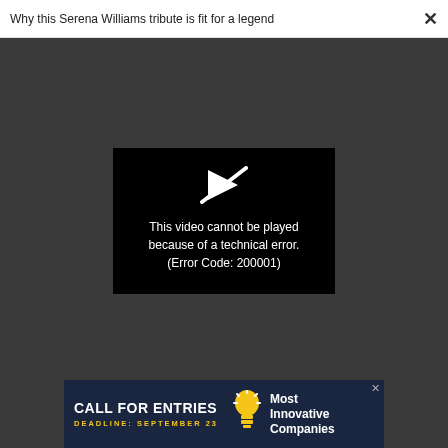Why this Serena Williams tribute is fit for a legend ×
[Figure (screenshot): Video player showing error message on dark grey background. Black rectangle with a broken play icon (arrow with a strike-through) above white text reading: 'This video cannot be played because of a technical error. (Error Code: 200001)']
right ad at the right time.
[Figure (screenshot): Advertisement banner with dark navy background. Left side: 'CALL FOR ENTRIES' in bold white text, 'DEADLINE: SEPTEMBER 23' in yellow text. Center: lightbulb icon. Right side: 'Most Innovative Companies' in white text. Close button (x) at top right.]